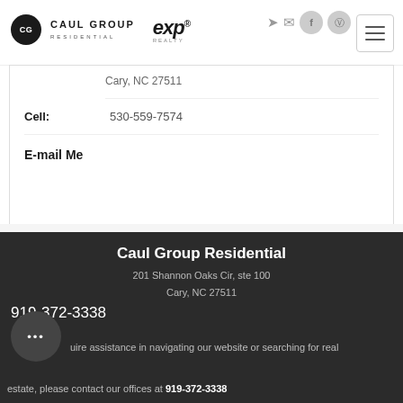[Figure (logo): Caul Group Residential logo with circular CG emblem, and eXp Realty logo]
Cary, NC 27511
Cell: 530-559-7574
E-mail Me
Caul Group Residential
201 Shannon Oaks Cir, ste 100
Cary, NC 27511
919-372-3338
...uire assistance in navigating our website or searching for real estate, please contact our offices at 919-372-3338